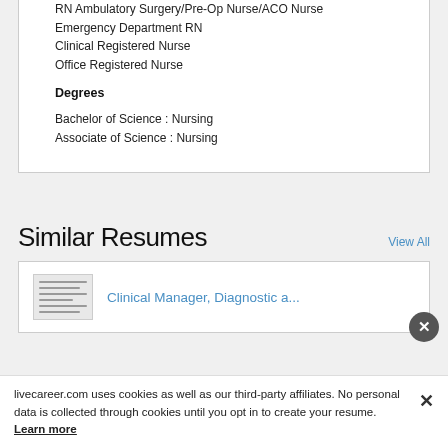RN Ambulatory Surgery/Pre-Op Nurse/ACO Nurse
Emergency Department RN
Clinical Registered Nurse
Office Registered Nurse
Degrees
Bachelor of Science : Nursing
Associate of Science : Nursing
Similar Resumes
View All
Clinical Manager, Diagnostic a...
livecareer.com uses cookies as well as our third-party affiliates. No personal data is collected through cookies until you opt in to create your resume. Learn more